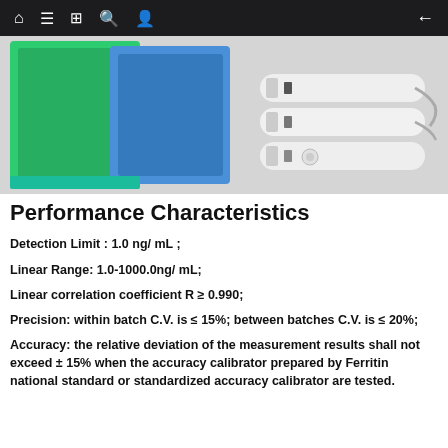[Figure (photo): Hero image showing diagnostic test kit devices and packaging with green and blue colored boxes and white rapid test strips on a light grey background]
Performance Characteristics
Detection Limit : 1.0 ng/ mL ;
Linear Range: 1.0-1000.0ng/ mL;
Linear correlation coefficient R ≥ 0.990;
Precision: within batch C.V. is ≤ 15%; between batches C.V. is ≤ 20%;
Accuracy: the relative deviation of the measurement results shall not exceed ± 15% when the accuracy calibrator prepared by Ferritin national standard or standardized accuracy calibrator are tested.